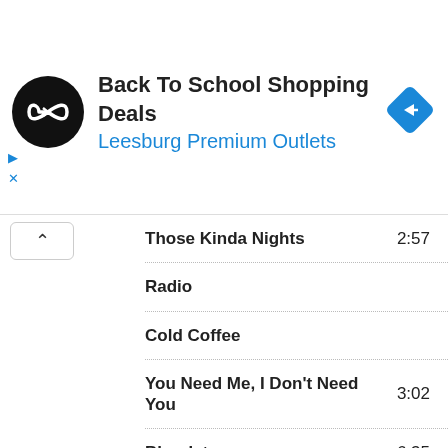[Figure (screenshot): Ad banner for Back To School Shopping Deals at Leesburg Premium Outlets with logo and navigation arrow icon]
Back To School Shopping Deals
Leesburg Premium Outlets
| Track | Duration |
| --- | --- |
| Those Kinda Nights | 2:57 |
| Radio |  |
| Cold Coffee |  |
| You Need Me, I Don't Need You | 3:02 |
| Bloodstream | 6:35 |
| Afterglow | 3:05 |
| Drunk |  |
| Autumn Leaves | 3:22 |